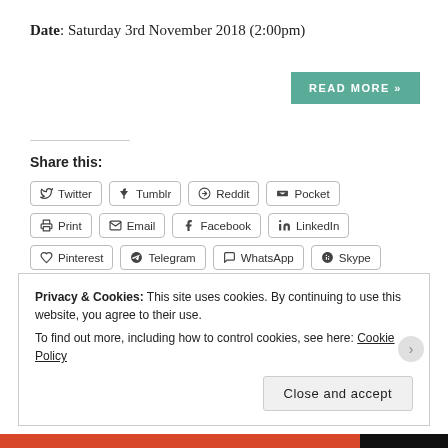Date: Saturday 3rd November 2018 (2:00pm)
READ MORE »
Share this:
Twitter  Tumblr  Reddit  Pocket  Print  Email  Facebook  LinkedIn  Pinterest  Telegram  WhatsApp  Skype
Loading...
Privacy & Cookies: This site uses cookies. By continuing to use this website, you agree to their use.
To find out more, including how to control cookies, see here: Cookie Policy
Close and accept